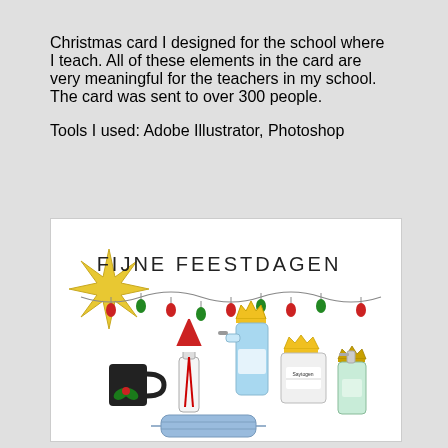Christmas card I designed for the school where I teach. All of these elements in the card are very meaningful for the teachers in my school. The card was sent to over 300 people.

Tools I used: Adobe Illustrator, Photoshop
[Figure (illustration): Christmas card illustration with 'FIJNE FEESTDAGEN' text, decorative string lights, a gold star, a Santa hat on a bottle, a spray bottle with a crown, a disinfectant container with a crown, a green gel bottle with a crown, a black mug with holly, and a blue face mask at the bottom.]